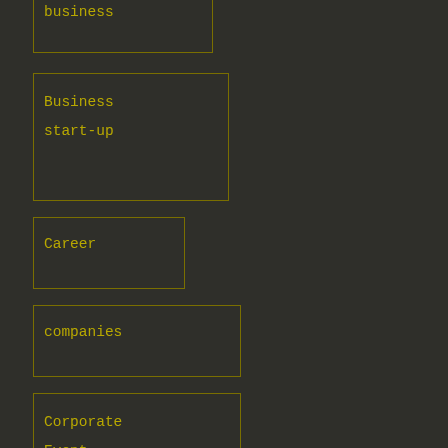business
Business start-up
Career
companies
Corporate Event
debt
Education
employee training
Employers
finance
Fi...